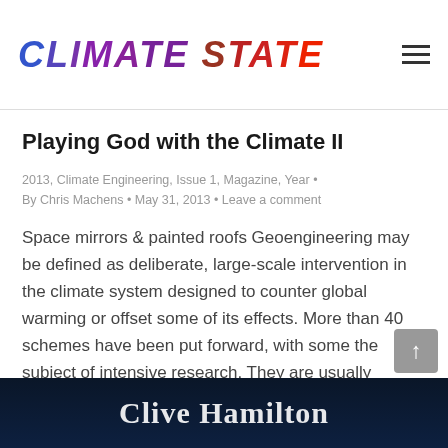CLIMATE STATE
Playing God with the Climate II
2013, Climate Engineering, Issue 1, Magazine, Year • By Chris Machens • May 31, 2013 • Leave a comment
Space mirrors & painted roofs Geoengineering may be defined as deliberate, large-scale intervention in the climate system designed to counter global warming or offset some of its effects. More than 40 schemes have been put forward, with some the subject of intensive research. They are usually divided into two types: methods to remove carbon dioxide…
[Figure (photo): Dark space/night sky background with 'Clive Hamilton' text visible at bottom]